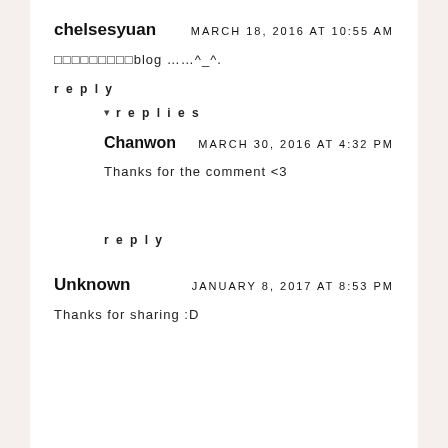chelsesyuan    MARCH 18, 2016 AT 10:55 AM
□□□□□□□□□blog ……^_^.
reply
▾  replies
Chanwon    MARCH 30, 2016 AT 4:32 PM
Thanks for the comment <3
reply
Unknown    JANUARY 8, 2017 AT 8:53 PM
Thanks for sharing :D